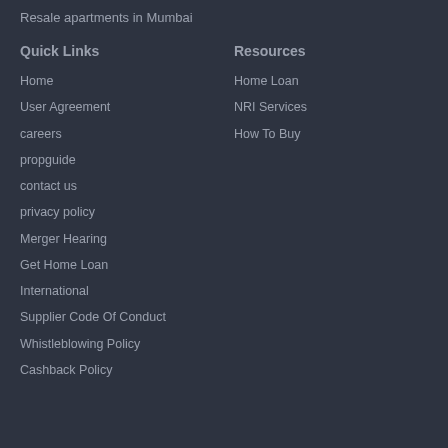Resale apartments in Mumbai
Quick Links
Resources
Home
Home Loan
User Agreement
NRI Services
careers
How To Buy
propguide
contact us
privacy policy
Merger Hearing
Get Home Loan
International
Supplier Code Of Conduct
Whistleblowing Policy
Cashback Policy